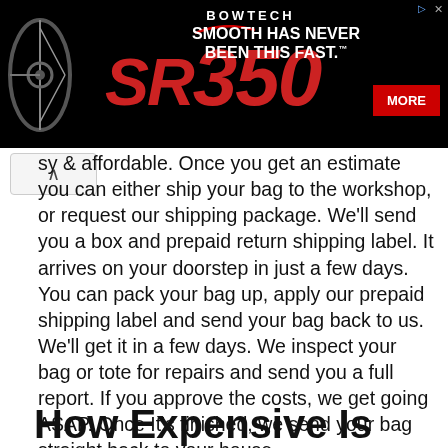[Figure (photo): Bowtech SR350 advertisement banner with compound bow image, red SR350 logo, tagline 'SMOOTH HAS NEVER BEEN THIS FAST.' and a red MORE button on black background]
sy & affordable. Once you get an estimate you can either ship your bag to the workshop, or request our shipping package. We'll send you a box and prepaid return shipping label. It arrives on your doorstep in just a few days. You can pack your bag up, apply our prepaid shipping label and send your bag back to us. We'll get it in a few days. We inspect your bag or tote for repairs and send you a full report. If you approve the costs, we get going ASAP. Once It's finished, we send your bag straight back to your house.
How Expensive Is